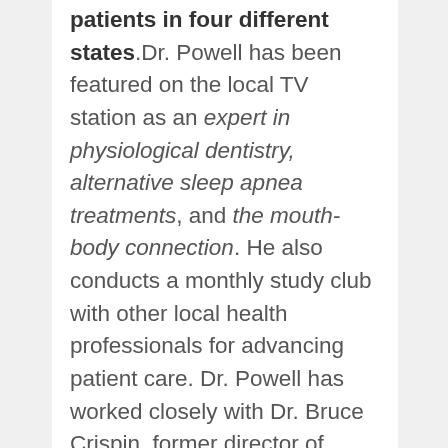patients in four different states. Dr. Powell has been featured on the local TV station as an expert in physiological dentistry, alternative sleep apnea treatments, and the mouth-body connection. He also conducts a monthly study club with other local health professionals for advancing patient care. Dr. Powell has worked closely with Dr. Bruce Crispin, former director of UCLA's Cosmetic Dentistry Center, and is a